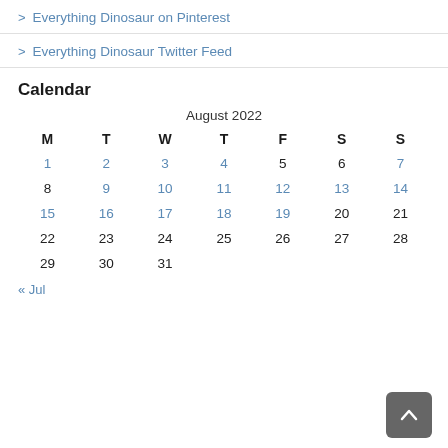> Everything Dinosaur on Pinterest
> Everything Dinosaur Twitter Feed
Calendar
| M | T | W | T | F | S | S |
| --- | --- | --- | --- | --- | --- | --- |
| 1 | 2 | 3 | 4 | 5 | 6 | 7 |
| 8 | 9 | 10 | 11 | 12 | 13 | 14 |
| 15 | 16 | 17 | 18 | 19 | 20 | 21 |
| 22 | 23 | 24 | 25 | 26 | 27 | 28 |
| 29 | 30 | 31 |  |  |  |  |
« Jul